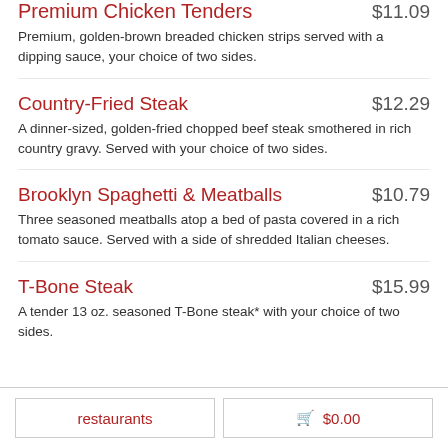Premium Chicken Tenders $11.09
Premium, golden-brown breaded chicken strips served with a dipping sauce, your choice of two sides.
Country-Fried Steak $12.29
A dinner-sized, golden-fried chopped beef steak smothered in rich country gravy. Served with your choice of two sides.
Brooklyn Spaghetti & Meatballs $10.79
Three seasoned meatballs atop a bed of pasta covered in a rich tomato sauce. Served with a side of shredded Italian cheeses.
T-Bone Steak $15.99
A tender 13 oz. seasoned T-Bone steak* with your choice of two sides.
restaurants   🛒 $0.00